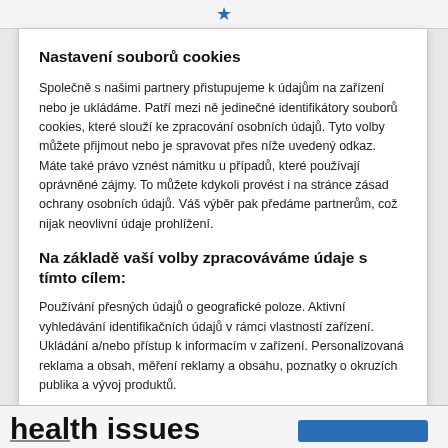[Figure (screenshot): Top browser navigation bar with a blue star/bookmark icon]
Nastavení souborů cookies
Společně s našimi partnery přistupujeme k údajům na zařízení nebo je ukládáme. Patří mezi ně jedinečné identifikátory souborů cookies, které slouží ke zpracování osobních údajů. Tyto volby můžete přijmout nebo je spravovat přes níže uvedený odkaz. Máte také právo vznést námitku u případů, které používají oprávněné zájmy. To můžete kdykoli provést i na stránce zásad ochrany osobních údajů. Váš výběr pak předáme partnerům, což nijak neovlivní údaje prohlížení.
Na základě vaší volby zpracováváme údaje s tímto cílem:
Používání přesných údajů o geografické poloze. Aktivní vyhledávání identifikačních údajů v rámci vlastností zařízení. Ukládání a/nebo přístup k informacím v zařízení. Personalizovaná reklama a obsah, měření reklamy a obsahu, poznatky o okruzích publika a vývoj produktů.
Seznam partnerů (dodavatelů)
health issues